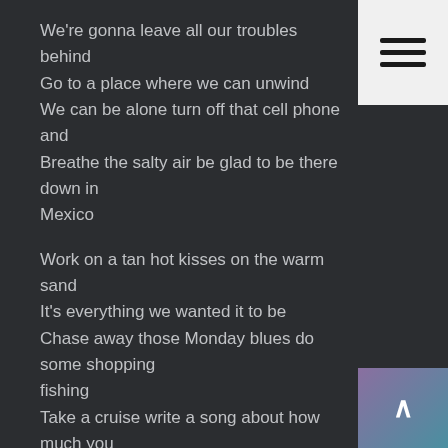[Figure (other): Hamburger menu button (three horizontal lines) on light background, top-right corner]
We're gonna leave all our troubles behind
Go to a place where we can unwind
We can be alone turn off that cell phone and
Breathe the salty air be glad to be there down in
Mexico
Work on a tan hot kisses on the warm sand
It's everything we wanted it to be
Chase away those Monday blues do some shopping fishing
Take a cruise write a song about how much you mean to me yeah
We're gonna leave all our troubles behind
Go to a place where we can unwind
We can be alone turn off that cell phone and
Breathe the salty air be glad to be there down in
[Figure (other): Scroll-to-top button with up arrow, purple-teal gradient, bottom-right corner]